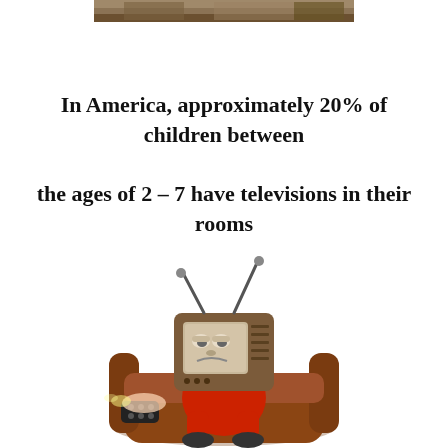[Figure (photo): Partial photo at top of page, cropped, showing a scene partially visible]
In America, approximately 20% of children between

the ages of 2 – 7 have televisions in their rooms
[Figure (illustration): Cartoon illustration of a character with a television set for a head, wearing red clothes, sitting in a brown armchair and holding a remote control]